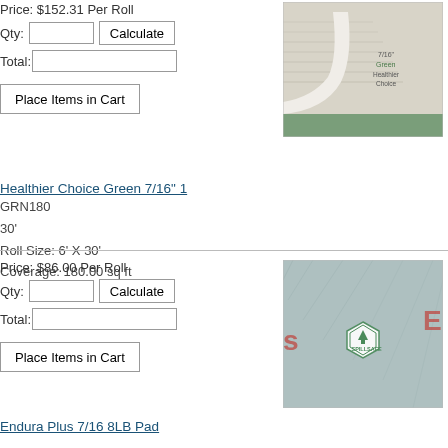Price: $152.31 Per Roll
Qty: [input] Calculate
Total: [input]
Place Items in Cart
[Figure (photo): Product image of Healthier Choice Green 7/16 carpet pad, showing a corner cross-section with green and white layers, labeled 7/16 Green Healthier Choice]
Healthier Choice Green 7/16" 1
GRN180
30'
Roll Size: 6' X 30'
Coverage: 180.00 sq ft
Price: $86.00 Per Roll
Qty: [input] Calculate
Total: [input]
Place Items in Cart
[Figure (photo): Product image of Endura Plus 7/16 8LB Pad, showing a textured blue-grey foam pad surface with a green hexagonal SPILLSAFE logo badge]
Endura Plus 7/16 8LB Pad
30 Feet
Foam Coloration: Black